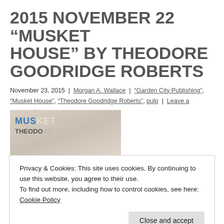2015 NOVEMBER 22 “MUSKET HOUSE” BY THEODORE GOODRIDGE ROBERTS
November 23, 2015 | Morgan A. Wallace | "Garden City Publishing", "Musket House", "Theodore Goodridge Roberts", pulp | Leave a comment
[Figure (photo): Partial view of a book cover showing 'MUS' and 'THEODO' text with illustrated artwork]
Privacy & Cookies: This site uses cookies. By continuing to use this website, you agree to their use.
To find out more, including how to control cookies, see here: Cookie Policy